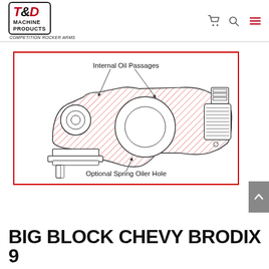T&D Machine Products - Competition Rocker Arms
[Figure (engineering-diagram): Cross-section engineering diagram of a rocker arm showing internal oil passages (labeled with arrows pointing to hatched/shaded areas) and an optional spring oiler hole (labeled at bottom with arrow). The rocker arm body has diagonal red hatching indicating internal passages, with a circular bore in the center and mechanical fittings on the right side. At lower left is a valve stem contact pad.]
BIG BLOCK CHEVY BRODIX 9